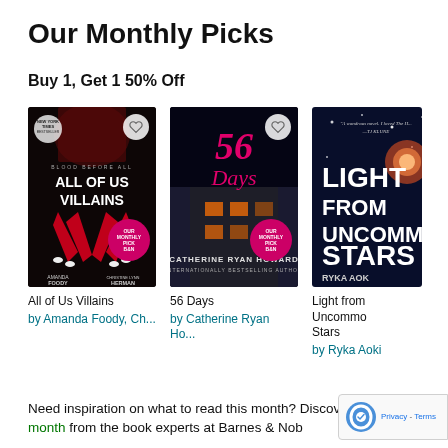Our Monthly Picks
Buy 1, Get 1 50% Off
[Figure (photo): Book cover: All of Us Villains by Amanda Foody, Christine Lynn Herman — dark cover with red hands]
All of Us Villains
by Amanda Foody, Ch...
[Figure (photo): Book cover: 56 Days by Catherine Ryan Howard — dark building with neon pink title]
56 Days
by Catherine Ryan Ho...
[Figure (photo): Book cover: Light from Uncommon Stars by Ryka Aoki — space/cosmic themed cover, partially cropped]
Light from Uncommon Stars
by Ryka Aoki
Need inspiration on what to read this month? Discover the picks of the month from the book experts at Barnes & Nob...